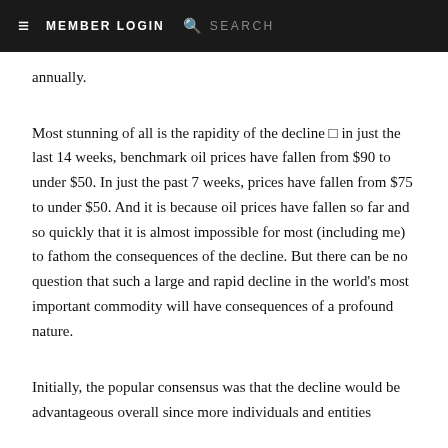≡  MEMBER LOGIN  🔍  SEARCH
annually.
Most stunning of all is the rapidity of the decline □ in just the last 14 weeks, benchmark oil prices have fallen from $90 to under $50. In just the past 7 weeks, prices have fallen from $75 to under $50. And it is because oil prices have fallen so far and so quickly that it is almost impossible for most (including me) to fathom the consequences of the decline. But there can be no question that such a large and rapid decline in the world's most important commodity will have consequences of a profound nature.
Initially, the popular consensus was that the decline would be advantageous overall since more individuals and entities